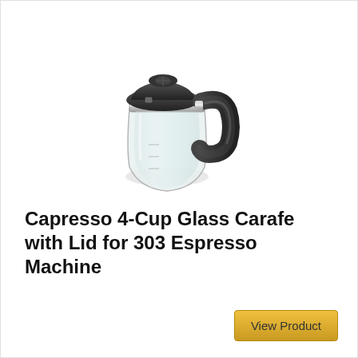[Figure (photo): A glass carafe with a black lid and black handle, designed for a Capresso 303 Espresso Machine. The carafe has a clear glass body with measurement markings, a chrome rim, and a rounded base.]
Capresso 4-Cup Glass Carafe with Lid for 303 Espresso Machine
View Product